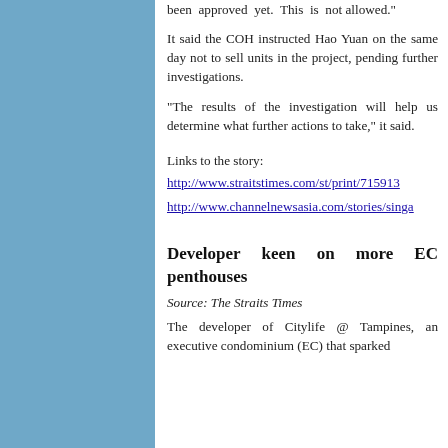been approved yet. This is not allowed."
It said the COH instructed Hao Yuan on the same day not to sell units in the project, pending further investigations.
"The results of the investigation will help us determine what further actions to take," it said.
Links to the story:
http://www.straitstimes.com/st/print/715913
http://www.channelnewsasia.com/stories/singa
Developer keen on more EC penthouses
Source: The Straits Times
The developer of Citylife @ Tampines, an executive condominium (EC) that sparked